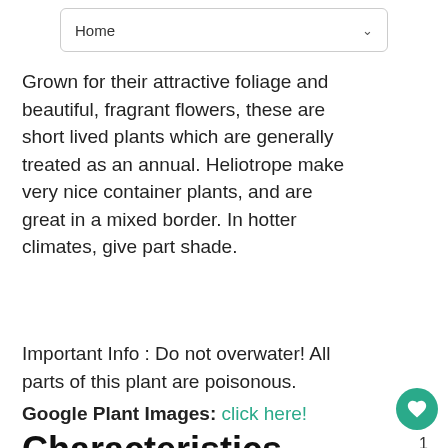Home
Grown for their attractive foliage and beautiful, fragrant flowers, these are short lived plants which are generally treated as an annual. Heliotrope make very nice container plants, and are great in a mixed border. In hotter climates, give part shade.
Important Info : Do not overwater! All parts of this plant are poisonous.
Google Plant Images: click here!
Characteristics
Cultivar: Lord Roberts
Family: Boraginaceae